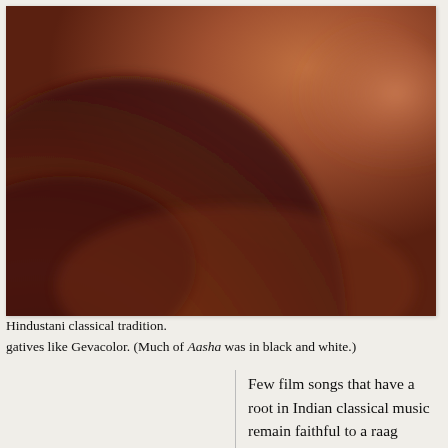[Figure (photo): A blurry, close-up photograph with warm brown and reddish-brown tones, appearing to show a curved surface or shoulder, set against a lighter brownish-orange background.]
Hindustani classical tradition.
gatives like Gevacolor. (Much of Aasha was in black and white.)
Few film songs that have a root in Indian classical music remain faithful to a raag throughout their